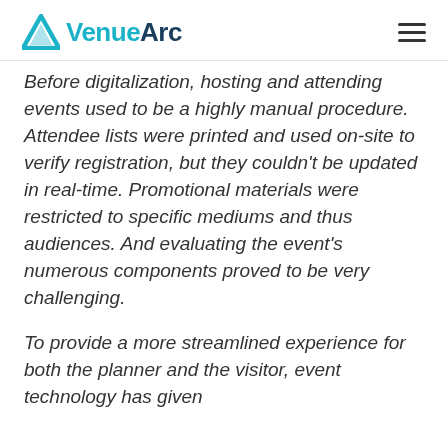VenueArc
Before digitalization, hosting and attending events used to be a highly manual procedure. Attendee lists were printed and used on-site to verify registration, but they couldn't be updated in real-time. Promotional materials were restricted to specific mediums and thus audiences. And evaluating the event's numerous components proved to be very challenging.
To provide a more streamlined experience for both the planner and the visitor, event technology has given...